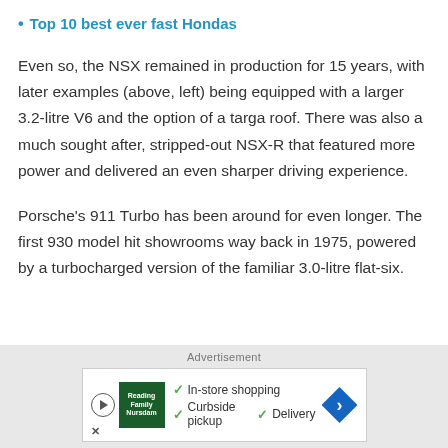Top 10 best ever fast Hondas
Even so, the NSX remained in production for 15 years, with later examples (above, left) being equipped with a larger 3.2-litre V6 and the option of a targa roof. There was also a much sought after, stripped-out NSX-R that featured more power and delivered an even sharper driving experience.
Porsche's 911 Turbo has been around for even longer. The first 930 model hit showrooms way back in 1975, powered by a turbocharged version of the familiar 3.0-litre flat-six.
Advertisement
[Figure (other): Advertisement banner with store logo, checkmarks for In-store shopping, Curbside pickup, Delivery, and navigation arrow icon]